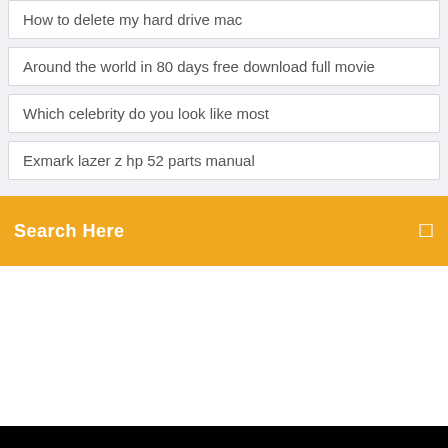How to delete my hard drive mac
Around the world in 80 days free download full movie
Which celebrity do you look like most
Exmark lazer z hp 52 parts manual
Search Here
Photography blog